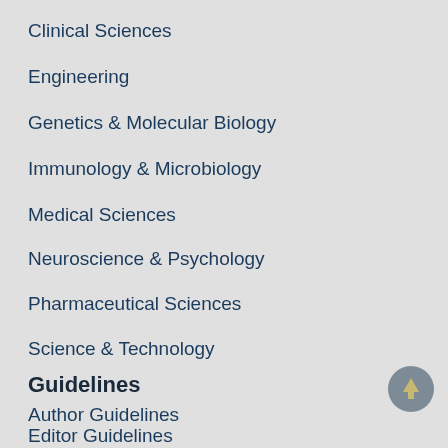Clinical Sciences
Engineering
Genetics & Molecular Biology
Immunology & Microbiology
Medical Sciences
Neuroscience & Psychology
Pharmaceutical Sciences
Science & Technology
Guidelines
Author Guidelines
Editor Guidelines
Reviewer Guidelines